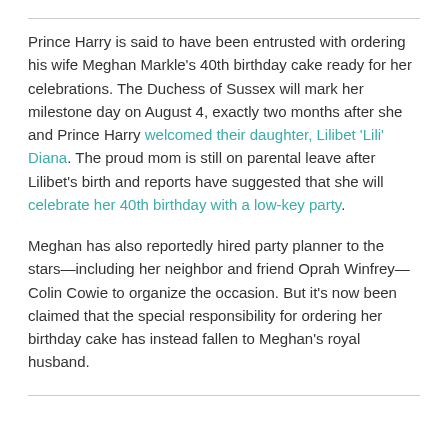Prince Harry is said to have been entrusted with ordering his wife Meghan Markle's 40th birthday cake ready for her celebrations. The Duchess of Sussex will mark her milestone day on August 4, exactly two months after she and Prince Harry welcomed their daughter, Lilibet 'Lili' Diana. The proud mom is still on parental leave after Lilibet's birth and reports have suggested that she will celebrate her 40th birthday with a low-key party.
Meghan has also reportedly hired party planner to the stars—including her neighbor and friend Oprah Winfrey—Colin Cowie to organize the occasion. But it's now been claimed that the special responsibility for ordering her birthday cake has instead fallen to Meghan's royal husband.